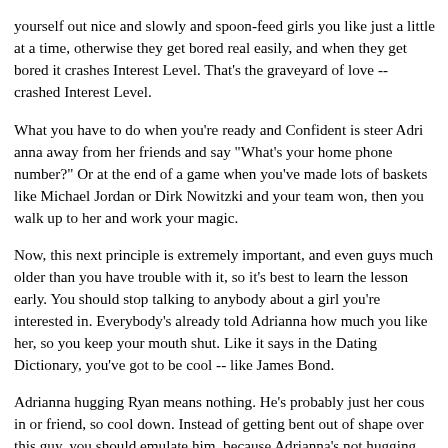yourself out nice and slowly and spoon-feed girls you like just a little at a time, otherwise they get bored real easily, and when they get bored it crashes Interest Level. That's the graveyard of love -- crashed Interest Level.
What you have to do when you're ready and Confident is steer Adrianna away from her friends and say "What's your home phone number?" Or at the end of a game when you've made lots of baskets like Michael Jordan or Dirk Nowitzki and your team won, then you walk up to her and work your magic.
Now, this next principle is extremely important, and even guys much older than you have trouble with it, so it's best to learn the lesson early. You should stop talking to anybody about a girl you're interested in. Everybody's already told Adrianna how much you like her, so you keep your mouth shut. Like it says in the Dating Dictionary, you've got to be cool -- like James Bond.
Adrianna hugging Ryan means nothing. He's probably just her cousin or friend, so cool down. Instead of getting bent out of shape over this guy, you should emulate him, because Adrianna's not hugging you. (And you should have the same feelings about your hoop dreams as he does about his football, only be a little more humble.) When you see him, smile…when you see her, smile, keep walking and make like you're Jim Carrey for all the other girls. When you get them to laugh, Adrianna will notice and she's going to walk over to your group and say "Hi, Brady. Please make me laugh too."
But this is a long-term relationship, and by the time you're 15 or 16,